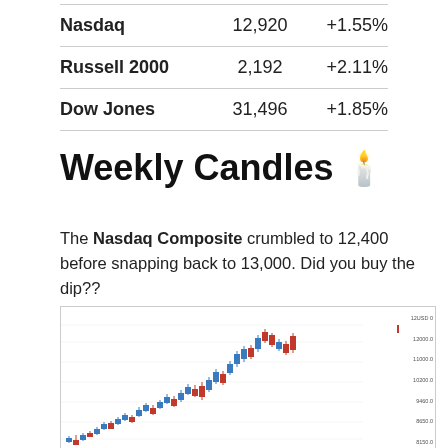|  |  |  |
| --- | --- | --- |
| Nasdaq | 12,920 | +1.55% |
| Russell 2000 | 2,192 | +2.11% |
| Dow Jones | 31,496 | +1.85% |
Weekly Candles 🕯️
The Nasdaq Composite crumbled to 12,400 before snapping back to 13,000. Did you buy the dip??
[Figure (continuous-plot): Candlestick chart of Nasdaq Composite index showing weekly candles. Blue (bullish) and red (bearish) candles showing an uptrend from around 8500 to ~13000, with a recent pullback. Y-axis labels: 8650.0, 9460.0, 10200.0, 11000.0, 12000.0, and a price tag showing 12500.1. Chart header shows 'NASDAQ Composite Index' and timeframe info.]